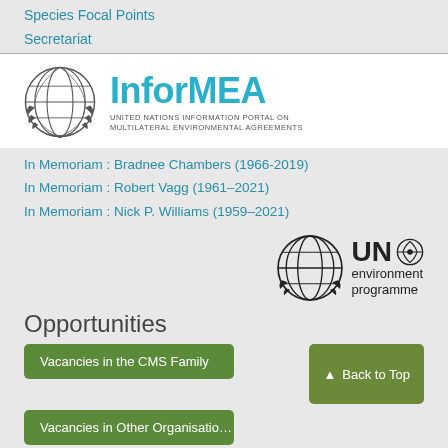Species Focal Points
Secretariat
[Figure (logo): InforMEA logo with UN emblem and text: UNITED NATIONS INFORMATION PORTAL ON MULTILATERAL ENVIRONMENTAL AGREEMENTS]
In Memoriam : Bradnee Chambers (1966-2019)
In Memoriam : Robert Vagg (1961–2021)
In Memoriam : Nick P. Williams (1959–2021)
[Figure (logo): UN Environment Programme logo with UN globe emblem]
Opportunities
Vacancies in the CMS Family
Back to Top
Vacancies in Other Organisations